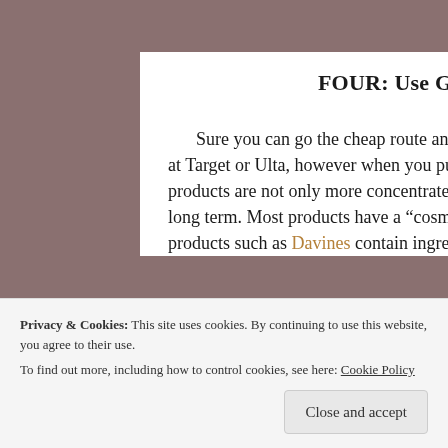FOUR: Use Great Products
Sure you can go the cheap route and purchase whatever liters are on sale at Target or Ulta, however when you purchase from a professional salon your products are not only more concentrated but also better for your hair in the long term. Most products have a “cosmetic repair” where professional grade products such as Davines contain ingredients like Roucou oil that heal
Privacy & Cookies: This site uses cookies. By continuing to use this website, you agree to their use.
To find out more, including how to control cookies, see here: Cookie Policy